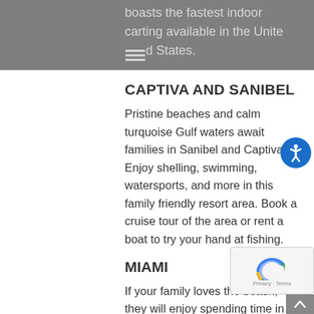boasts the fastest indoor carting available in the United States.
CAPTIVA AND SANIBEL
Pristine beaches and calm turquoise Gulf waters await families in Sanibel and Captiva. Enjoy shelling, swimming, watersports, and more in this family friendly resort area. Book a cruise tour of the area or rent a boat to try your hand at fishing.
MIAMI
If your family loves the beach, they will enjoy spending time in Miami Beach for swimming, sunning, volleyball, and sand castle fun. Off the beach, visit downtown Miami and explore the Miami Science